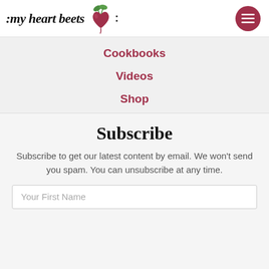[Figure (logo): My Heart Beets logo with cursive text and beet illustration]
Cookbooks
Videos
Shop
Subscribe
Subscribe to get our latest content by email. We won't send you spam. You can unsubscribe at any time.
Your First Name